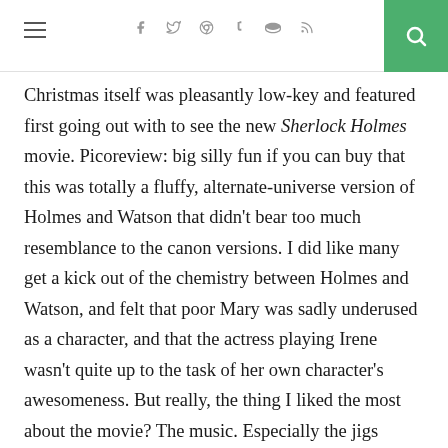Navigation header with hamburger menu, social icons (f, twitter, pinterest, tumblr, soundcloud, rss), and search button
Christmas itself was pleasantly low-key and featured first going out with to see the new Sherlock Holmes movie. Picoreview: big silly fun if you can buy that this was totally a fluffy, alternate-universe version of Holmes and Watson that didn't bear too much resemblance to the canon versions. I did like many get a kick out of the chemistry between Holmes and Watson, and felt that poor Mary was sadly underused as a character, and that the actress playing Irene wasn't quite up to the task of her own character's awesomeness. But really, the thing I liked the most about the movie? The music. Especially the jigs during the action scenes and the take of "Rocky Road to Dublin". I may have to buy the soundtrack on the strength of that alone.
Christmas evening, , , and all had dinner with us at the Murk and then we all watched the new Doctor Who, "The End of Time, Part 1". Most definitely more on this in another post.